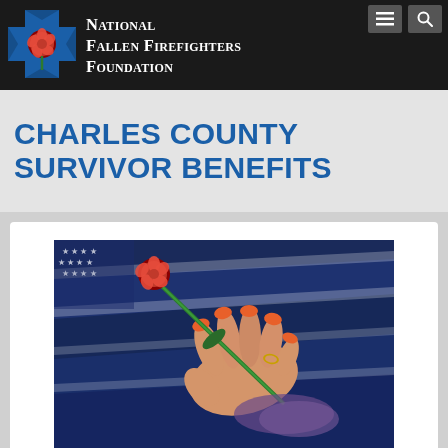National Fallen Firefighters Foundation
CHARLES COUNTY SURVIVOR BENEFITS
[Figure (photo): A woman's hand with a red rose resting on a folded American flag, symbolizing mourning and tribute to a fallen firefighter.]